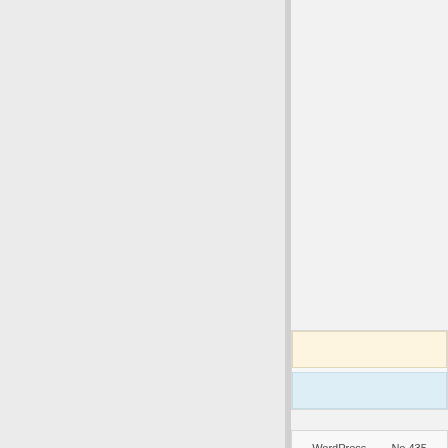[Figure (screenshot): Partial view of a website sidebar UI showing two groups of buttons: cream/warm-colored and blue-colored buttons with Japanese-like repeated character labels, and a WordPress widget area label reading 'WordPress… No.435']
WordPress… No.435